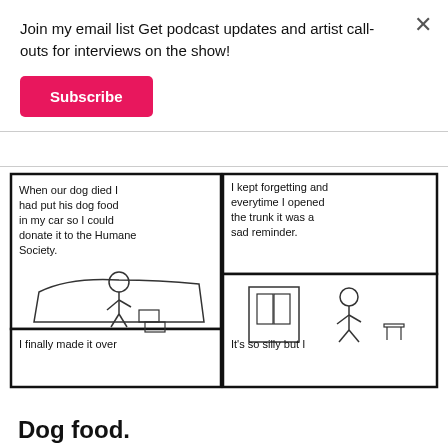Join my email list Get podcast updates and artist call-outs for interviews on the show!
Subscribe
[Figure (illustration): Four-panel hand-drawn comic strip. Top-left panel text: 'When our dog died I had put his dog food in my car so I could donate it to the Humane Society.' with sketch of person at car trunk. Top-right panel text: 'I kept forgetting and everytime I opened the trunk it was a sad reminder.' with sketch of person walking toward building entrance. Bottom-left panel text: 'I finally made it over'. Bottom-right panel text: 'It's so silly but I'.]
Dog food.